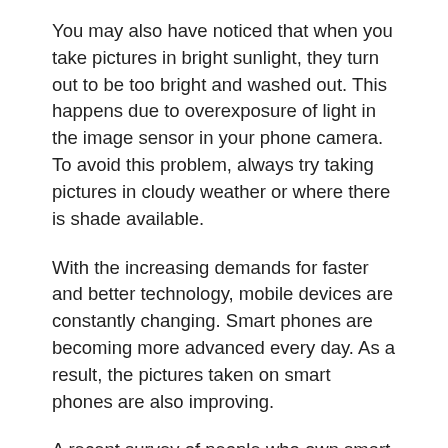You may also have noticed that when you take pictures in bright sunlight, they turn out to be too bright and washed out. This happens due to overexposure of light in the image sensor in your phone camera. To avoid this problem, always try taking pictures in cloudy weather or where there is shade available.
With the increasing demands for faster and better technology, mobile devices are constantly changing. Smart phones are becoming more advanced every day. As a result, the pictures taken on smart phones are also improving.
A recent survey of people who own smart phones showed that 92% of them use their phone to take pictures. This is not surprising as smart phone cameras have become more useful throughout the years. In fact, in some cases they have replaced traditional digital cameras.
Before you start taking pictures with your smart phone camera, you should know what you want to achieve. If you plan on